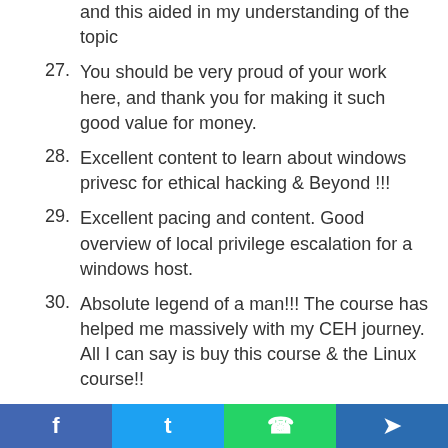and this aided in my understanding of the topic
27. You should be very proud of your work here, and thank you for making it such good value for money.
28. Excellent content to learn about windows privesc for ethical hacking & Beyond !!!
29. Excellent pacing and content. Good overview of local privilege escalation for a windows host.
30. Absolute legend of a man!!! The course has helped me massively with my CEH journey. All I can say is buy this course & the Linux course!!
1.